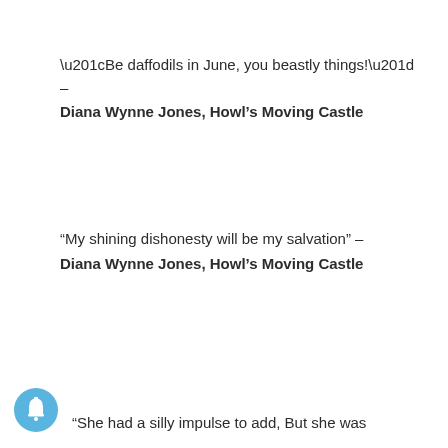“Be daffodils in June, you beastly things!” –
Diana Wynne Jones, Howl’s Moving Castle
“My shining dishonesty will be my salvation” –
Diana Wynne Jones, Howl’s Moving Castle
“She had a silly impulse to add, But she was